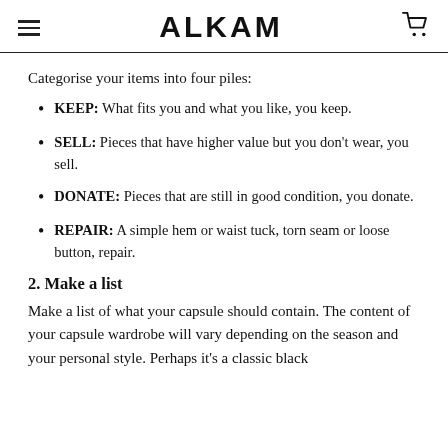ALKAM
Categorise your items into four piles:
KEEP: What fits you and what you like, you keep.
SELL: Pieces that have higher value but you don't wear, you sell.
DONATE: Pieces that are still in good condition, you donate.
REPAIR: A simple hem or waist tuck, torn seam or loose button, repair.
2. Make a list
Make a list of what your capsule should contain. The content of your capsule wardrobe will vary depending on the season and your personal style. Perhaps it's a classic black